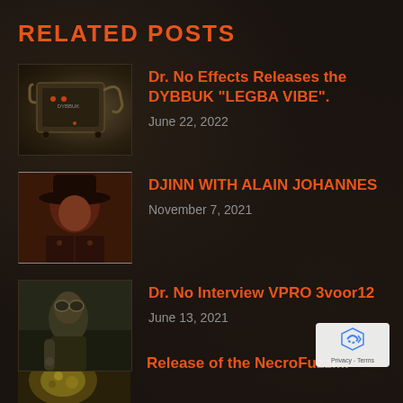RELATED POSTS
[Figure (photo): Dark electronic device/box with LED lights, Dr. No Effects pedal]
Dr. No Effects Releases the DYBBUK “LEGBA VIBE”.
June 22, 2022
[Figure (photo): Person wearing a wide-brim black hat and ornate jacket]
DJINN WITH ALAIN JOHANNES
November 7, 2021
[Figure (photo): Person wearing goggles indoors]
Dr. No Interview VPRO 3voor12
June 13, 2021
[Figure (photo): Partial thumbnail, golden/brown object]
Release of the NecroFuzzi...